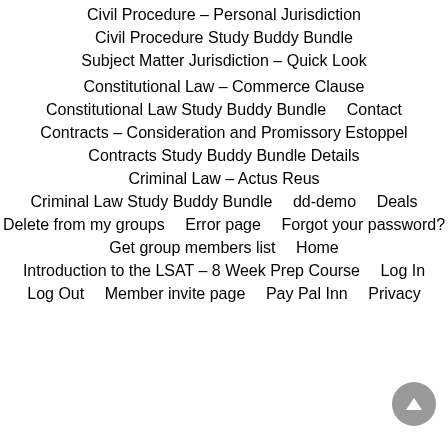Civil Procedure – Personal Jurisdiction
Civil Procedure Study Buddy Bundle
Subject Matter Jurisdiction – Quick Look
Constitutional Law – Commerce Clause
Constitutional Law Study Buddy Bundle    Contact
Contracts – Consideration and Promissory Estoppel
Contracts Study Buddy Bundle Details
Criminal Law – Actus Reus
Criminal Law Study Buddy Bundle    dd-demo    Deals
Delete from my groups    Error page    Forgot your password?
Get group members list    Home
Introduction to the LSAT – 8 Week Prep Course    Log In
Log Out    Member invite page    Pay Pal Inn    Privacy